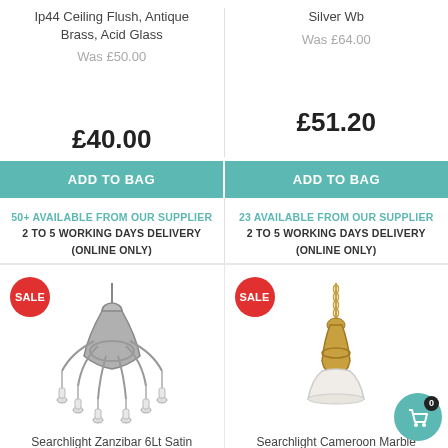Ip44 Ceiling Flush, Antique Brass, Acid Glass
Silver Wb
Was £50.00
Was £64.00
£40.00
£51.20
ADD TO BAG
ADD TO BAG
50+ AVAILABLE FROM OUR SUPPLIER
2 TO 5 WORKING DAYS DELIVERY
(ONLINE ONLY)
23 AVAILABLE FROM OUR SUPPLIER
2 TO 5 WORKING DAYS DELIVERY
(ONLINE ONLY)
[Figure (photo): Searchlight Zanzibar 6Lt Satin chandelier with multiple candle arms, with SALE badge]
[Figure (photo): Searchlight Cameroon Marble pendant light with SALE badge]
Searchlight Zanzibar 6Lt Satin
Searchlight Cameroon Marble